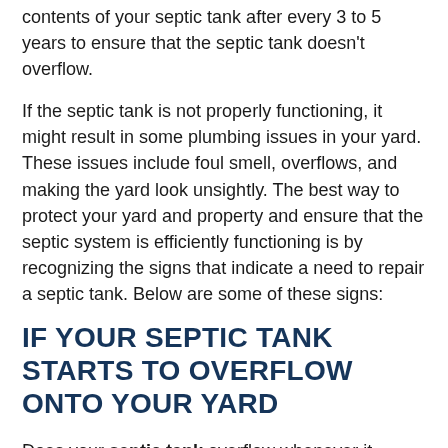contents of your septic tank after every 3 to 5 years to ensure that the septic tank doesn't overflow.
If the septic tank is not properly functioning, it might result in some plumbing issues in your yard. These issues include foul smell, overflows, and making the yard look unsightly. The best way to protect your yard and property and ensure that the septic system is efficiently functioning is by recognizing the signs that indicate a need to repair a septic tank. Below are some of these signs:
IF YOUR SEPTIC TANK STARTS TO OVERFLOW ONTO YOUR YARD
Does your septic tank overflow whenever it heavily rains? Then you should have a plumbing